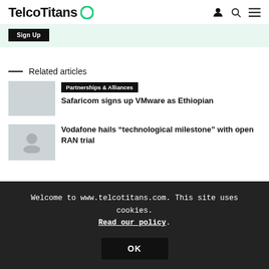TelcoTitans
[Figure (screenshot): Sign Up button on light green background bar]
Related articles
[Figure (photo): Thumbnail image placeholder for first article]
Partnerships & Alliances
Safaricom signs up VMware as Ethiopian
[Figure (photo): Thumbnail image placeholder for second article with user icon]
Vodafone hails “technological milestone” with open RAN trial
Welcome to www.telcotitans.com. This site uses cookies. Read our policy.
OK